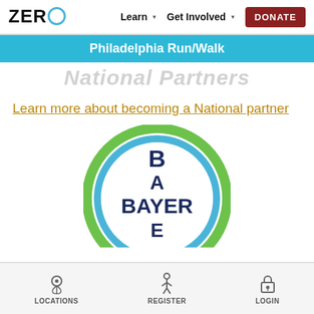ZERO  Learn  Get Involved  DONATE
Philadelphia Run/Walk
National Partners
Learn more about becoming a National partner
[Figure (logo): Bayer company logo — circular emblem with green and blue ring, dark navy text: B, A, BAYER, E arranged in a cross pattern]
LOCATIONS  REGISTER  LOGIN